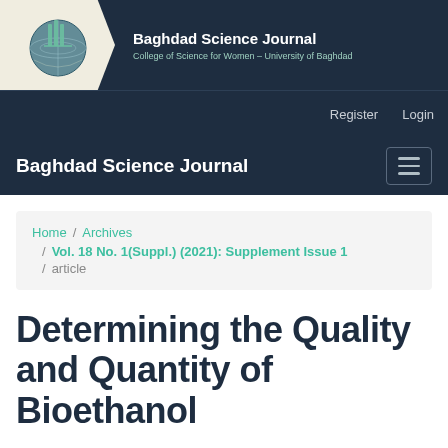[Figure (logo): Baghdad Science Journal logo – circular globe emblem with pillar motif on beige background with chevron cutout]
Baghdad Science Journal
College of Science for Women – University of Baghdad
Register   Login
Baghdad Science Journal
Home / Archives / Vol. 18 No. 1(Suppl.) (2021): Supplement Issue 1 / article
Determining the Quality and Quantity of Bioethanol